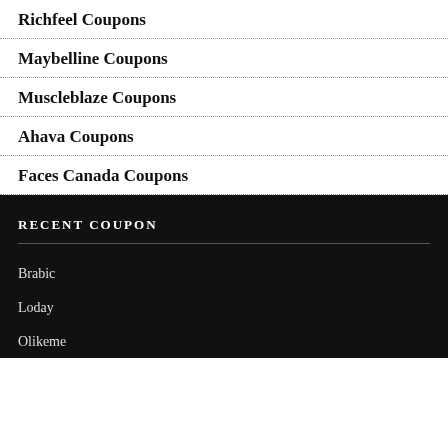Richfeel Coupons
Maybelline Coupons
Muscleblaze Coupons
Ahava Coupons
Faces Canada Coupons
RECENT COUPON
Brabic
Loday
Olikeme